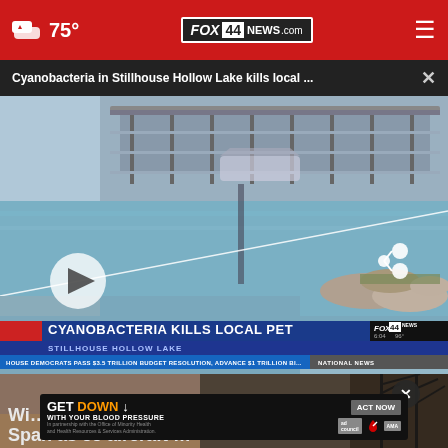75° FOX 44 NEWS.com ≡
Cyanobacteria in Stillhouse Hollow Lake kills local ...
[Figure (screenshot): News video screenshot showing Stillhouse Hollow Lake with marina/dock in background, clear water in foreground, rocks on right shore. Chyron overlay reads: CYANOBACTERIA KILLS LOCAL PET / STILLHOUSE HOLLOW LAKE. Ticker: HOUSE DEMOCRATS PASS $3.5 TRILLION BUDGET RESOLUTION, ADVANCE $1 TRILLION BI... NATIONAL NEWS. FOX 44 bug shows 6:04 / 96°. Play button visible lower left.]
[Figure (photo): Partial view of brownish outdoor scene below video, mostly obscured by overlaying advertisement. Close button (×) visible on dark circle.]
GET DOWN ↓ WITH YOUR BLOOD PRESSURE  ACT NOW  In partnership with the Office of Minority Health and Health Resources & Services Administration.  ad council  [heart logo]  AMA
Wi... Spa... as 55 aircraft ...